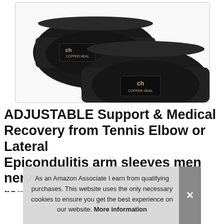[Figure (photo): Two black Copper Heal elbow brace straps/bands displayed side by side on a white background. Each has a small rectangular logo patch reading 'ch COPPER HEAL'.]
ADJUSTABLE Support & Medical Recovery from Tennis Elbow or Lateral Epicondulitis arm sleeves men nerve rem... HE...
As an Amazon Associate I earn from qualifying purchases. This website uses the only necessary cookies to ensure you get the best experience on our website. More information